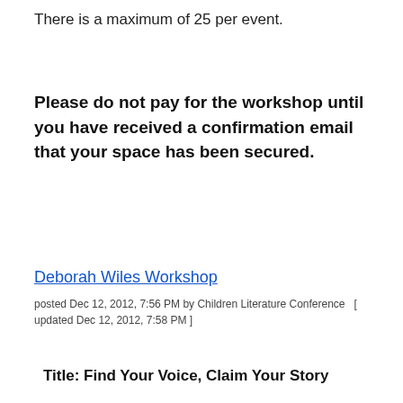There is a maximum of 25 per event.
Please do not pay for the workshop until you have received a confirmation email that your space has been secured.
Deborah Wiles Workshop
posted Dec 12, 2012, 7:56 PM by Children Literature Conference  [ updated Dec 12, 2012, 7:58 PM ]
Title: Find Your Voice, Claim Your Story